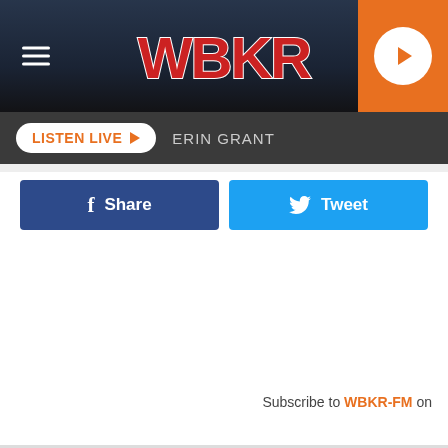[Figure (screenshot): WBKR radio station website header with logo, hamburger menu, and orange play button]
LISTEN LIVE  ERIN GRANT
[Figure (infographic): Facebook Share button and Twitter Tweet button]
Subscribe to WBKR-FM on